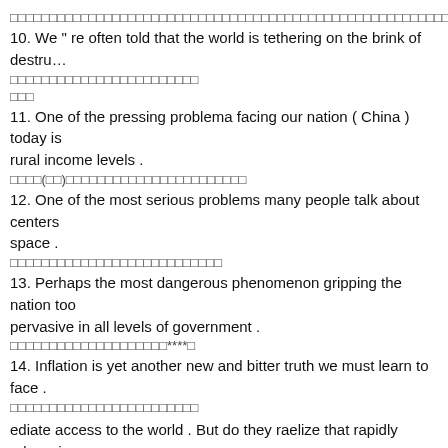（中文方块字符行）
10. We " re often told that the world is tethering on the brink of destru…
（中文方块字符行）
（中文方块字符）
11. One of the pressing problema facing our nation ( China ) today is rural income levels .
（中文(括号)方块字符行）
12. One of the most serious problems many people talk about centers space .
（中文方块字符行）
13. Perhaps the most dangerous phenomenon gripping the nation too pervasive in all levels of government .
（中文方块字符行****）
14. Inflation is yet another new and bitter truth we must learn to face .
（中文方块字符行）
ediate access to the world . But do they raelize that rapidly advancing